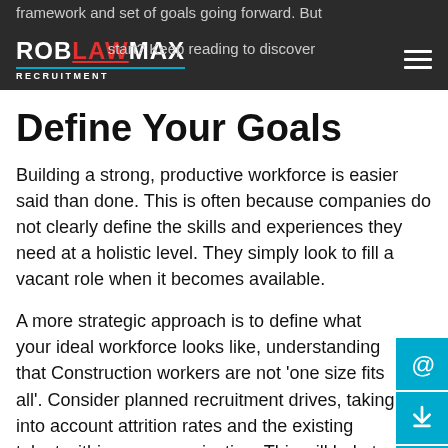ROBlawMAX RECRUITMENT — navigation bar
framework and set of goals going forward. But where do you start? Keep reading to discover our tips for successful recruiting in 2020.
Define Your Goals
Building a strong, productive workforce is easier said than done. This is often because companies do not clearly define the skills and experiences they need at a holistic level. They simply look to fill a vacant role when it becomes available.
A more strategic approach is to define what your ideal workforce looks like, understanding that Construction workers are not 'one size fits all'. Consider planned recruitment drives, taking into account attrition rates and the existing talent within your organisation. This will help to define who you need to hire, where you could